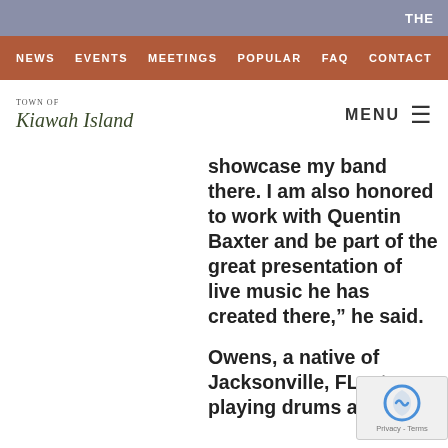THE
NEWS  EVENTS  MEETINGS  POPULAR  FAQ  CONTACT
[Figure (logo): Town of Kiawah Island logo with cursive script]
showcase my band there. I am also honored to work with Quentin Baxter and be part of the great presentation of live music he has created there,” he said.
Owens, a native of Jacksonville, FL, sta... playing drums at jus...